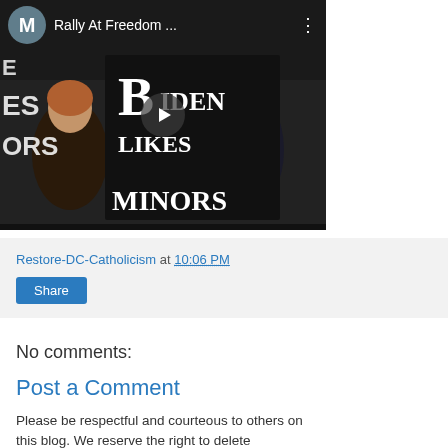[Figure (screenshot): Video thumbnail showing a rally scene with a sign reading 'Biden Likes Minors'. Top bar has avatar circle with letter M, title 'Rally At Freedom ...' and a three-dot menu. A play button is centered on the video.]
Restore-DC-Catholicism at 10:06 PM
Share
No comments:
Post a Comment
Please be respectful and courteous to others on this blog. We reserve the right to delete